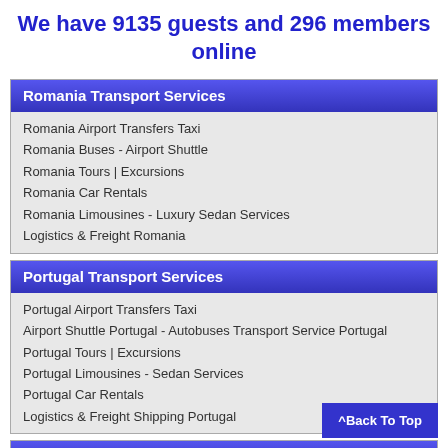We have 9135 guests and 296 members online
Romania Transport Services
Romania Airport Transfers Taxi
Romania Buses - Airport Shuttle
Romania Tours | Excursions
Romania Car Rentals
Romania Limousines - Luxury Sedan Services
Logistics & Freight Romania
Portugal Transport Services
Portugal Airport Transfers Taxi
Airport Shuttle Portugal - Autobuses Transport Service Portugal
Portugal Tours | Excursions
Portugal Limousines - Sedan Services
Portugal Car Rentals
Logistics & Freight Shipping Portugal
Spain Transfers / Shuttle Taxi
Spain Airport Transfers
Spain Taxi Services
Spain Tours | Excursions
^Back To Top